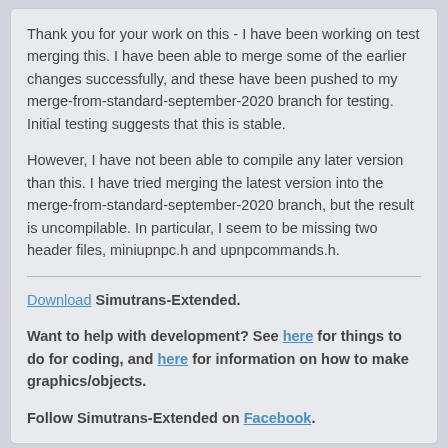Thank you for your work on this - I have been working on test merging this. I have been able to merge some of the earlier changes successfully, and these have been pushed to my merge-from-standard-september-2020 branch for testing. Initial testing suggests that this is stable.
However, I have not been able to compile any later version than this. I have tried merging the latest version into the merge-from-standard-september-2020 branch, but the result is uncompilable. In particular, I seem to be missing two header files, miniupnpc.h and upnpcommands.h.
Download Simutrans-Extended.
Want to help with development? See here for things to do for coding, and here for information on how to make graphics/objects.
Follow Simutrans-Extended on Facebook.
Roboron · Devotee
September 13, 2020, 02:56:06 PM
#135